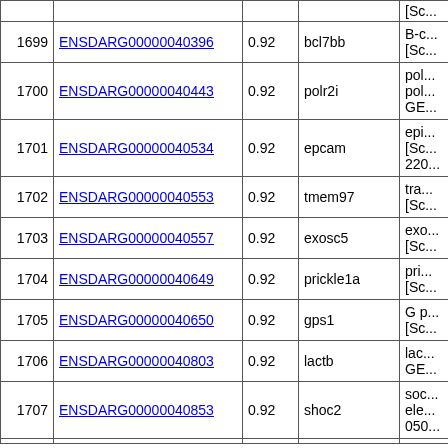| # | Gene ID | Score | Symbol | Description |
| --- | --- | --- | --- | --- |
| 1699 | ENSDARG00000040396 | 0.92 | bcl7bb | B-c... [Sc... |
| 1700 | ENSDARG00000040443 | 0.92 | polr2i | pol... pol... GE... |
| 1701 | ENSDARG00000040534 | 0.92 | epcam | epi... [Sc... 220... |
| 1702 | ENSDARG00000040553 | 0.92 | tmem97 | tra... [Sc... |
| 1703 | ENSDARG00000040557 | 0.92 | exosc5 | exo... [Sc... |
| 1704 | ENSDARG00000040649 | 0.92 | prickle1a | pri... [Sc... |
| 1705 | ENSDARG00000040650 | 0.92 | gps1 | G p... [Sc... |
| 1706 | ENSDARG00000040803 | 0.92 | lactb | lac... GE... |
| 1707 | ENSDARG00000040853 | 0.92 | shoc2 | soc... ele... 050... |